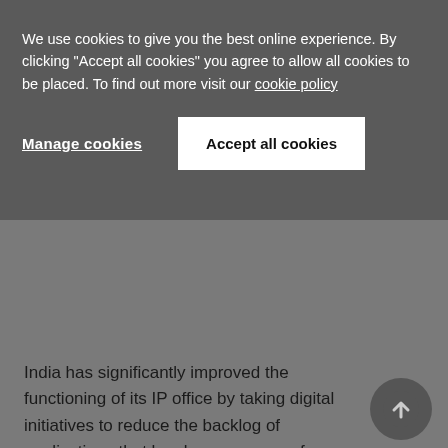We use cookies to give you the best online experience. By clicking "Accept all cookies" you agree to allow all cookies to be placed. To find out more visit our cookie policy
Manage cookies
Accept all cookies
relevant date for the calculation of five years is the date on which the mark was entered in the register (ie, the date which appears as the sealing date on the registration certificate).
India has significantly improved the functioning of its IP office by taking digital initiatives to reduce the backlog of applications that has been a cause of concern for rights holders. Despite this, a